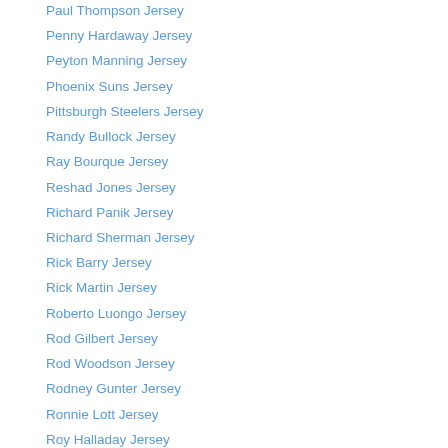Paul Thompson Jersey
Penny Hardaway Jersey
Peyton Manning Jersey
Phoenix Suns Jersey
Pittsburgh Steelers Jersey
Randy Bullock Jersey
Ray Bourque Jersey
Reshad Jones Jersey
Richard Panik Jersey
Richard Sherman Jersey
Rick Barry Jersey
Rick Martin Jersey
Roberto Luongo Jersey
Rod Gilbert Jersey
Rod Woodson Jersey
Rodney Gunter Jersey
Ronnie Lott Jersey
Roy Halladay Jersey
Ryan Murray Jersey